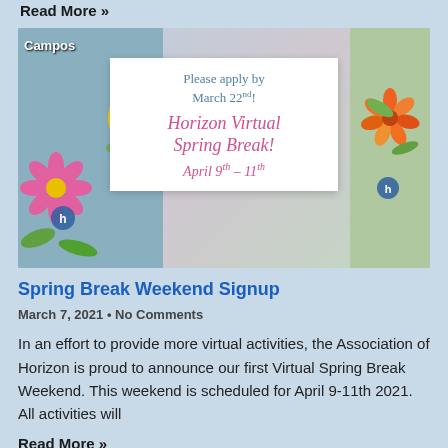Read More »
[Figure (photo): Floral collage background with a white sign overlay reading: Please apply by March 22nd! Horizon Virtual Spring Break! April 9th – 11th. A 'Campos' label appears in the top left corner.]
Spring Break Weekend Signup
March 7, 2021 • No Comments
In an effort to provide more virtual activities, the Association of Horizon is proud to announce our first Virtual Spring Break Weekend. This weekend is scheduled for April 9-11th 2021. All activities will
Read More »